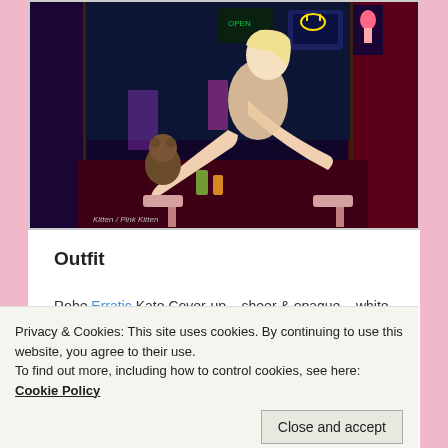[Figure (photo): Screenshot of a virtual world/game scene showing a blonde female avatar posing on what appears to be a bar counter in a neon-lit room with a red curtain and neon signs in the background. A teddy bear and drinks are visible on the counter. Text watermark reads 'Kitten / Pink Kitten' at the bottom.]
Outfit
Robe Erratic Kate Cover-up – sheer & opaque – white –
Privacy & Cookies: This site uses cookies. By continuing to use this website, you agree to their use.
To find out more, including how to control cookies, see here: Cookie Policy
Close and accept
Kitten